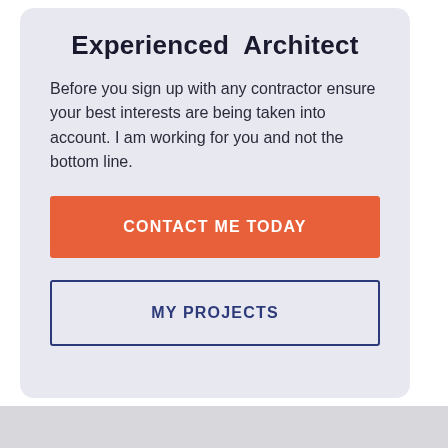Experienced Architect
Before you sign up with any contractor ensure your best interests are being taken into account. I am working for you and not the bottom line.
CONTACT ME TODAY
MY PROJECTS